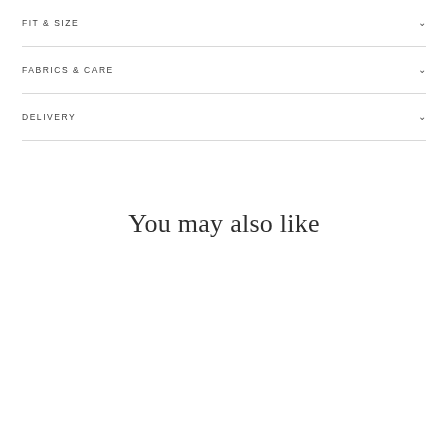FIT & SIZE
FABRICS & CARE
DELIVERY
You may also like